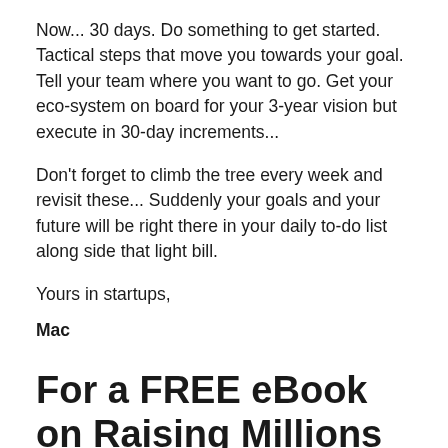Now... 30 days. Do something to get started. Tactical steps that move you towards your goal. Tell your team where you want to go. Get your eco-system on board for your 3-year vision but execute in 30-day increments...
Don't forget to climb the tree every week and revisit these... Suddenly your goals and your future will be right there in your daily to-do list along side that light bill.
Yours in startups,
Mac
For a FREE eBook on Raising Millions for your